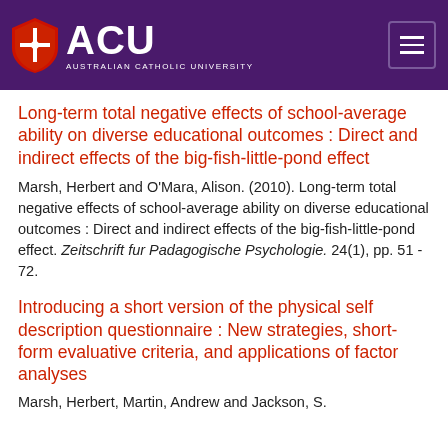ACU — Australian Catholic University
Long-term total negative effects of school-average ability on diverse educational outcomes : Direct and indirect effects of the big-fish-little-pond effect
Marsh, Herbert and O'Mara, Alison. (2010). Long-term total negative effects of school-average ability on diverse educational outcomes : Direct and indirect effects of the big-fish-little-pond effect. Zeitschrift fur Padagogische Psychologie. 24(1), pp. 51 - 72.
Introducing a short version of the physical self description questionnaire : New strategies, short-form evaluative criteria, and applications of factor analyses
Marsh, Herbert, Martin, Andrew and Jackson, S.